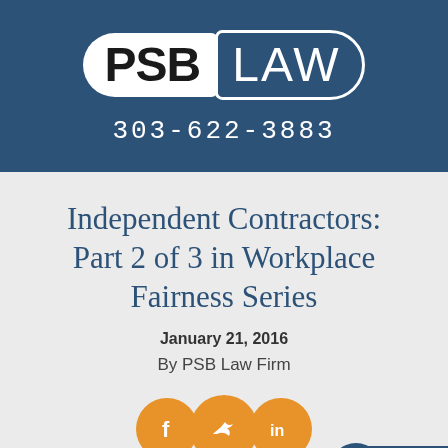[Figure (logo): PSB LAW firm logo with phone number 303-622-3883 on dark blue background header]
Independent Contractors: Part 2 of 3 in Workplace Fairness Series
January 21, 2016
By PSB Law Firm
[Figure (infographic): Social media icons (Facebook, Twitter/share, LinkedIn) in orange circles, plus a Text Us Now chat button in dark blue]